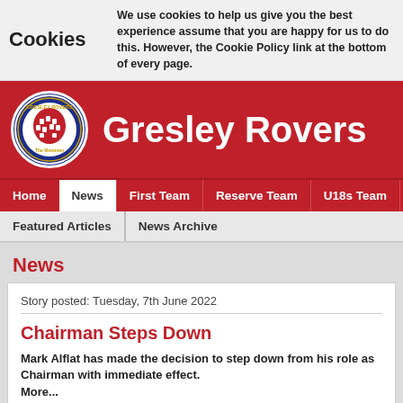Cookies  We use cookies to help us give you the best experience assume that you are happy for us to do this. However, the Cookie Policy link at the bottom of every page.
[Figure (logo): Gresley Rovers circular club badge - blue background with red and white crest, 'The Moatmen' text]
Gresley Rovers
Home | News | First Team | Reserve Team | U18s Team | Academy
Featured Articles | News Archive
News
Story posted: Tuesday, 7th June 2022
Chairman Steps Down
Mark Alflat has made the decision to step down from his role as Chairman with immediate effect.
More...